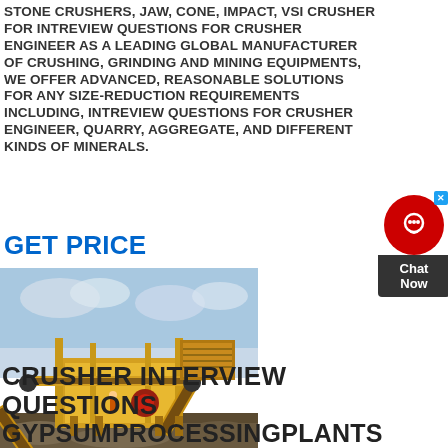STONE CRUSHERS, JAW, CONE, IMPACT, VSI CRUSHER FOR INTREVIEW QUESTIONS FOR CRUSHER ENGINEER AS A LEADING GLOBAL MANUFACTURER OF CRUSHING, GRINDING AND MINING EQUIPMENTS, WE OFFER ADVANCED, REASONABLE SOLUTIONS FOR ANY SIZE-REDUCTION REQUIREMENTS INCLUDING, INTREVIEW QUESTIONS FOR CRUSHER ENGINEER, QUARRY, AGGREGATE, AND DIFFERENT KINDS OF MINERALS.
GET PRICE
[Figure (photo): Yellow stone crusher / aggregate processing machine with conveyor belts, photographed outdoors against a cloudy sky.]
CRUSHER INTERVIEW QUESTIONS GYPSUMPROCESSINGPLANTS